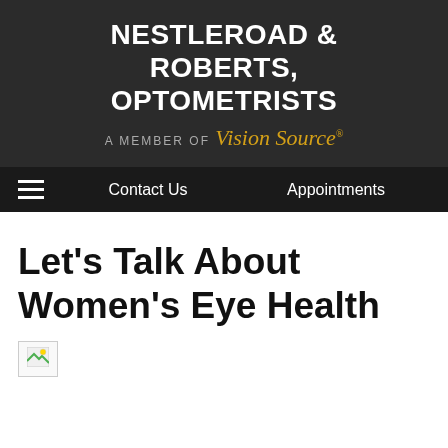NESTLEROAD & ROBERTS, OPTOMETRISTS
A MEMBER OF Vision Source
Contact Us | Appointments
Let's Talk About Women's Eye Health
[Figure (photo): Broken/missing image placeholder at top of article]